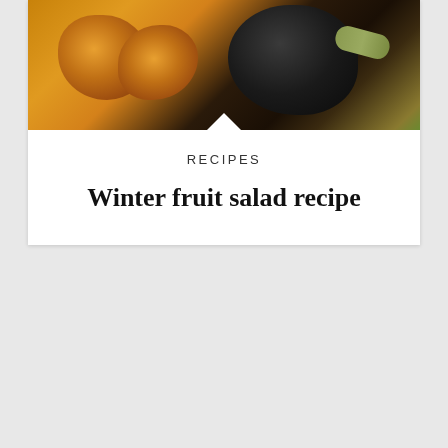[Figure (photo): Close-up photo of dried fruits including apricots, prunes/dark plums, and a cardamom pod on a dark background]
RECIPES
Winter fruit salad recipe
[Figure (photo): A pizza in a white bowl on a wooden surface, with a rolling pin in the background and a Caremoli Gluten Free branded bag to the left]